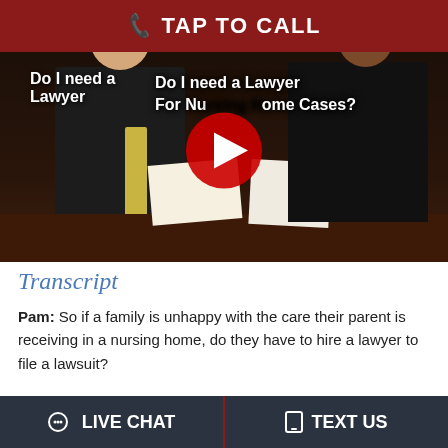TAP TO CALL
[Figure (screenshot): YouTube video thumbnail showing two people at a desk with text overlay 'Do I need a Lawyer For Nursing Home Cases?' and a YouTube play button in the center.]
Transcript
Pam: So if a family is unhappy with the care their parent is receiving in a nursing home, do they have to hire a lawyer to file a lawsuit?
Barry Doyle: So, one of the things I tell people when
LIVE CHAT  TEXT US